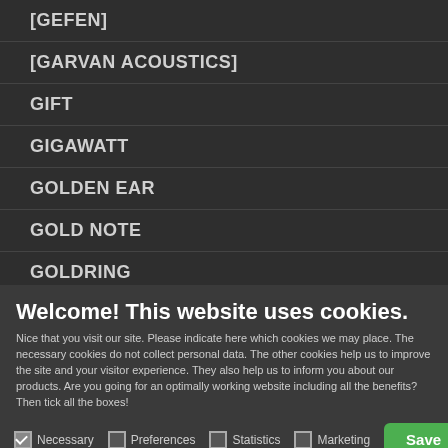[GEFEN]
[GARVAN ACOUSTICS]
GIFT
GIGAWATT
GOLDEN EAR
GOLD NOTE
GOLDRING
Welcome! This website uses cookies.
Nice that you visit our site. Please indicate here which cookies we may place. The necessary cookies do not collect personal data. The other cookies help us to improve the site and your visitor experience. They also help us to inform you about our products. Are you going for an optimally working website including all the benefits? Then tick all the boxes!
Necessary   Preferences   Statistics   Marketing   Save